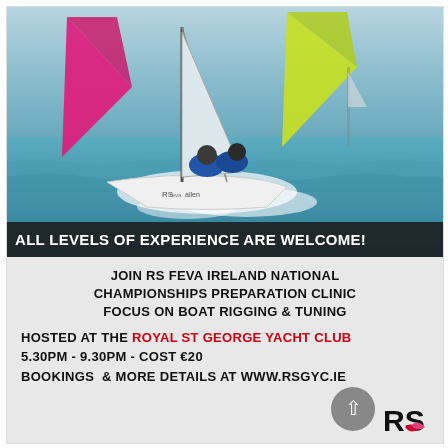[Figure (photo): Action sailing photo showing RS Feva dinghies racing on choppy water with colorful sails (pink/magenta, yellow/green), sailors hiking out, spray and waves visible. Text overlay at bottom: ALL LEVELS OF EXPERIENCE ARE WELCOME!]
ALL LEVELS OF EXPERIENCE ARE WELCOME!
JOIN RS FEVA IRELAND NATIONAL CHAMPIONSHIPS PREPARATION CLINIC
FOCUS ON BOAT RIGGING & TUNING
HOSTED AT THE ROYAL ST GEORGE YACHT CLUB
5.30PM - 9.30PM - COST €20
BOOKINGS & MORE DETAILS AT WWW.RSGYC.IE
[Figure (logo): RS sailing logo — bold black letters RS with a red and pink stylized graphic]